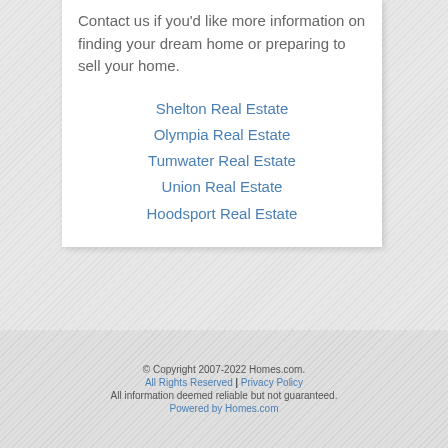Contact us if you'd like more information on finding your dream home or preparing to sell your home.
Shelton Real Estate
Olympia Real Estate
Tumwater Real Estate
Union Real Estate
Hoodsport Real Estate
© Copyright 2007-2022 Homes.com. All Rights Reserved | Privacy Policy All information deemed reliable but not guaranteed. Powered by Homes.com